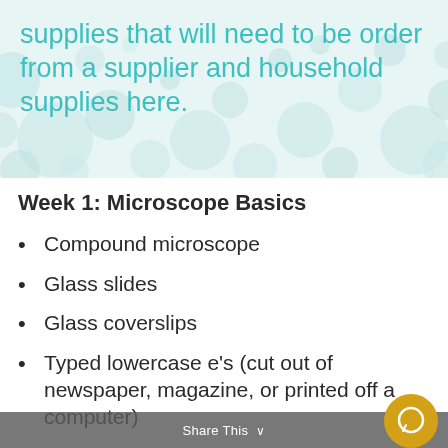supplies that will need to be order from a supplier and household supplies here.
Week 1: Microscope Basics
Compound microscope
Glass slides
Glass coverslips
Typed lowercase e's (cut out of newspaper, magazine, or printed off a computer)